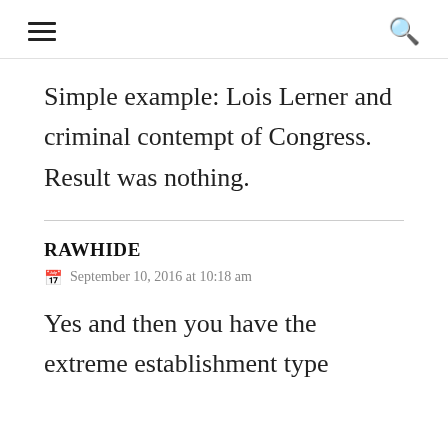≡   🔍
Simple example: Lois Lerner and criminal contempt of Congress. Result was nothing.
RAWHIDE
September 10, 2016 at 10:18 am
Yes and then you have the extreme establishment type